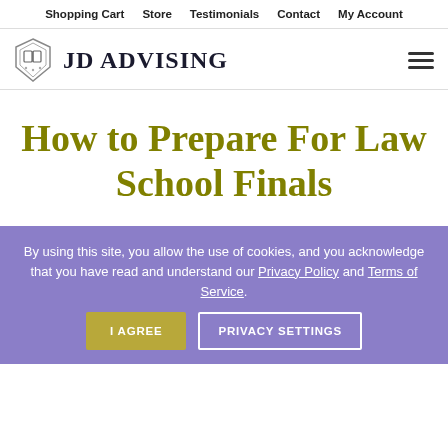Shopping Cart  Store  Testimonials  Contact  My Account
[Figure (logo): JD Advising logo with shield/book icon and text JD ADVISING]
How to Prepare For Law School Finals
By using this site, you allow the use of cookies, and you acknowledge that you have read and understand our Privacy Policy and Terms of Service.
I AGREE  PRIVACY SETTINGS